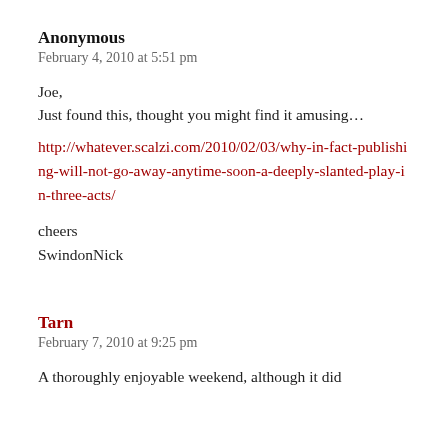Anonymous
February 4, 2010 at 5:51 pm
Joe,
Just found this, thought you might find it amusing…
http://whatever.scalzi.com/2010/02/03/why-in-fact-publishing-will-not-go-away-anytime-soon-a-deeply-slanted-play-in-three-acts/
cheers
SwindonNick
Tarn
February 7, 2010 at 9:25 pm
A thoroughly enjoyable weekend, although it did